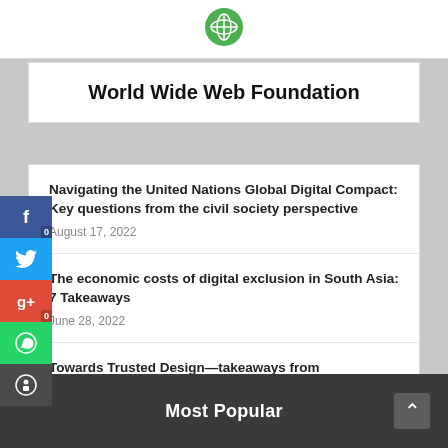[Figure (logo): Green circle logo at top center]
World Wide Web Foundation
Navigating the United Nations Global Digital Compact: Key questions from the civil society perspective
August 17, 2022
The economic costs of digital exclusion in South Asia: 7 Takeaways
June 28, 2022
Towards Trusted Design—takeaways from Envisioning Yesterday's Future
June 28, 2022
Most Popular